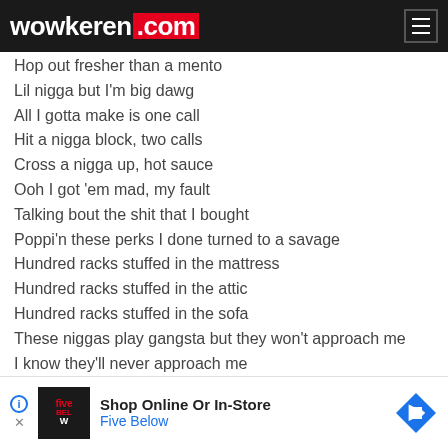wowkeren.com
Hop out fresher than a mento
Lil nigga but I'm big dawg
All I gotta make is one call
Hit a nigga block, two calls
Cross a nigga up, hot sauce
Ooh I got 'em mad, my fault
Talking bout the shit that I bought
Poppi'n these perks I done turned to a savage
Hundred racks stuffed in the mattress
Hundred racks stuffed in the attic
Hundred racks stuffed in the sofa
These niggas play gangsta but they won't approach me
I know they'll never approach me
They know that they'll catch a bullet
I rock t[obscured by ad]
I run w[obscured by ad]ssies
[obscured by ad]